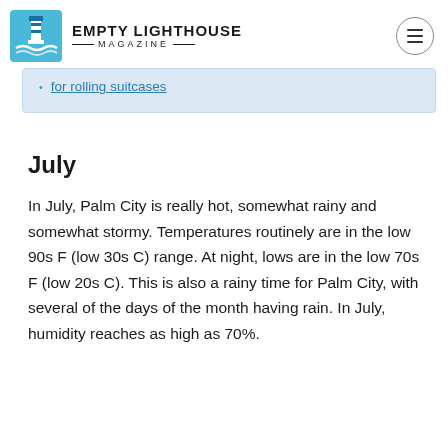EMPTY LIGHTHOUSE MAGAZINE
for rolling suitcases
July
In July, Palm City is really hot, somewhat rainy and somewhat stormy. Temperatures routinely are in the low 90s F (low 30s C) range. At night, lows are in the low 70s F (low 20s C). This is also a rainy time for Palm City, with several of the days of the month having rain. In July, humidity reaches as high as 70%.